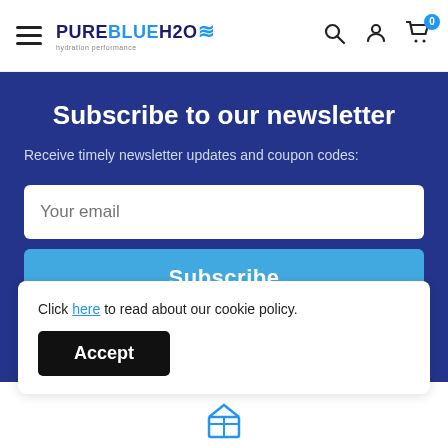PureBlueH2O — navigation header with hamburger menu, logo, search, account, and cart icons
Subscribe to our newsletter
Receive timely newsletter updates and coupon codes:
Your email
Subscribe
Unsubscribe any time!
Click here to read about our cookie policy.
Accept